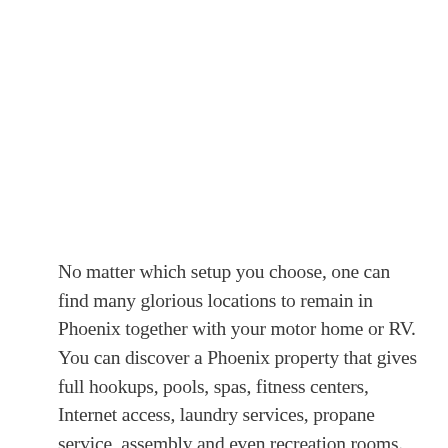No matter which setup you choose, one can find many glorious locations to remain in Phoenix together with your motor home or RV. You can discover a Phoenix property that gives full hookups, pools, spas, fitness centers, Internet access, laundry services, propane service, assembly and even recreation rooms. This can be an element when you plan to do quite a lot of travel on slim metropolis streets with limited parking. You may select to stay for a short while for those who wish to journey about the realm, or chances are you'll choose to remain for a longer time, whatever works